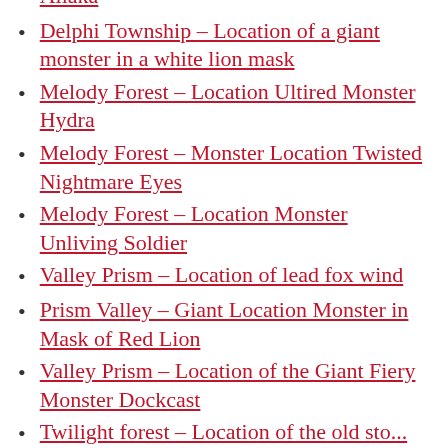Allaka
Delphi Township – Location of a giant monster in a white lion mask
Melody Forest – Location Ultired Monster Hydra
Melody Forest – Monster Location Twisted Nightmare Eyes
Melody Forest – Location Monster Unliving Soldier
Valley Prism – Location of lead fox wind
Prism Valley – Giant Location Monster in Mask of Red Lion
Valley Prism – Location of the Giant Fiery Monster Dockcast
Twilight forest – Location of the old stone...